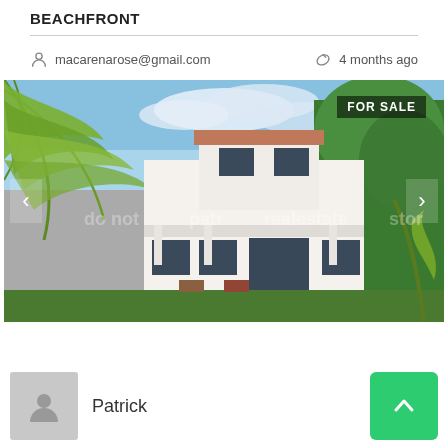BEACHFRONT
macarenarose@gmail.com
4 months ago
[Figure (photo): Beachfront property for sale - white multi-story house with red tile roof surrounded by palm trees and tropical vegetation. Badge reads FOR SALE.]
Patrick